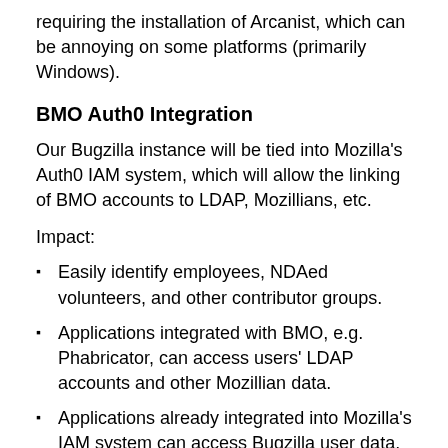requiring the installation of Arcanist, which can be annoying on some platforms (primarily Windows).
BMO Auth0 Integration
Our Bugzilla instance will be tied into Mozilla's Auth0 IAM system, which will allow the linking of BMO accounts to LDAP, Mozillians, etc.
Impact:
Easily identify employees, NDAed volunteers, and other contributor groups.
Applications integrated with BMO, e.g. Phabricator, can access users' LDAP accounts and other Mozillian data.
Applications already integrated into Mozilla's IAM system can access Bugzilla user data.
Vendor manifests